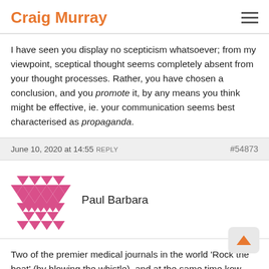Craig Murray
I have seen you display no scepticism whatsoever; from my viewpoint, sceptical thought seems completely absent from your thought processes. Rather, you have chosen a conclusion, and you promote it, by any means you think might be effective, ie. your communication seems best characterised as propaganda.
June 10, 2020 at 14:55  REPLY  #54873
Paul Barbara
Two of the premier medical journals in the world 'Rock the boat' (by blowing the whistle), and at the same time kow-tow to Big Pharma pressure:
'Editors of The Lancet and the New England Journal of Medicine: Pharmaceutical Companies are so Financially Powerful They Pressure...